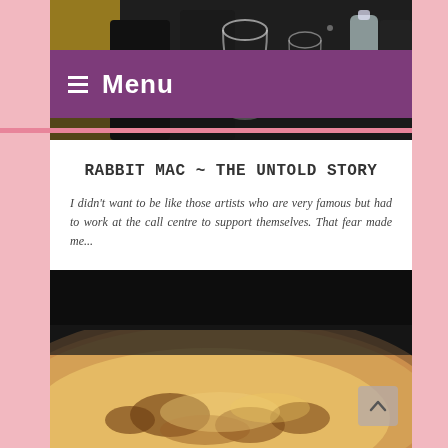Menu
[Figure (photo): Restaurant table scene with wine glasses and a water bottle in dark setting]
RABBIT MAC ~ THE UNTOLD STORY
I didn't want to be like those artists who are very famous but had to work at the call centre to support themselves. That fear made me...
[Figure (photo): Close-up of a pizza with melted cheese and browned crust on a dark background]